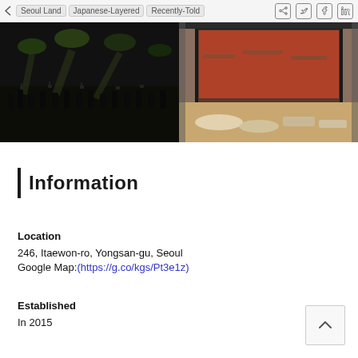< Seoul Land | Japanese-Layered | Recently-Told | Share | Twitter | Facebook | LinkedIn
[Figure (photo): Left photo: dark concert crowd with cameras and stage lights. Right photo: interior of a store/restaurant with shelves and items on the floor.]
| Information
Location
246, Itaewon-ro, Yongsan-gu, Seoul
Google Map:(https://g.co/kgs/Pt3e1z)
Established
In 2015